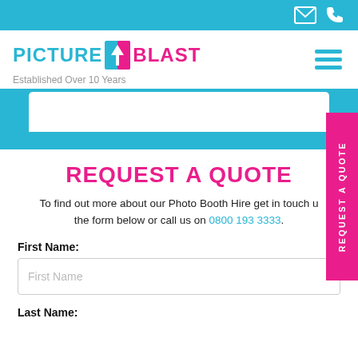[Figure (screenshot): Top navigation bar with cyan/teal background containing email envelope icon and phone icon on the right side]
[Figure (logo): Picture Blast logo with cyan 'PICTURE' text, door/lightning bolt icon, pink 'BLAST' text. Tagline: Established Over 10 Years. Hamburger menu icon on the right.]
[Figure (illustration): Cyan banner area with white rounded rectangle representing a photo booth display area]
REQUEST A QUOTE
To find out more about our Photo Booth Hire get in touch using the form below or call us on 0800 193 3333.
First Name:
Last Name: